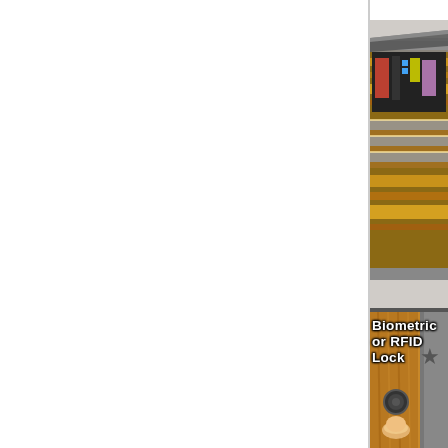Freedom Cabin
[Figure (photo): A wooden and metal wall-mounted cabinet with the lid open, revealing storage compartments containing various items including tools and accessories. The cabinet has alternating wood and metal stripe design.]
[Figure (photo): Close-up of a hand pressing a biometric fingerprint or RFID sensor embedded in a wooden door panel. A star symbol is visible on the right side.]
Biometric or RFID Lock